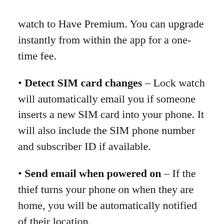watch to Have Premium. You can upgrade instantly from within the app for a one-time fee.
Detect SIM card changes – Lock watch will automatically email you if someone inserts a new SIM card into your phone. It will also include the SIM phone number and subscriber ID if available.
Send email when powered on – If the thief turns your phone on when they are home, you will be automatically notified of their location.
Take multiple photos – Instead of just one photo, Lock watch will take three photos in three seconds. This improves your chances of getting a good photo of the